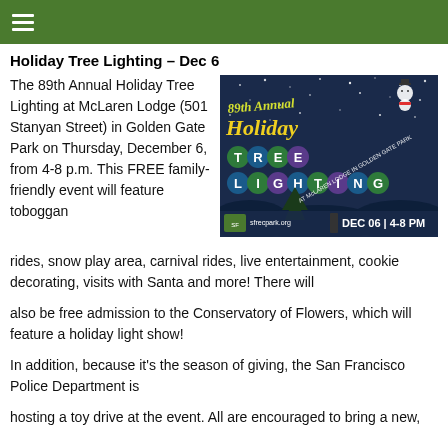☰
Holiday Tree Lighting – Dec 6
[Figure (illustration): 89th Annual Holiday Tree Lighting event poster at McLaren Lodge in Golden Gate Park. Shows colorful lettering on a winter night sky background with snowman. Text: sfrecpark.org, DEC 06 | 4-8 PM]
The 89th Annual Holiday Tree Lighting at McLaren Lodge (501 Stanyan Street) in Golden Gate Park on Thursday, December 6, from 4-8 p.m. This FREE family-friendly event will feature toboggan
rides, snow play area, carnival rides, live entertainment, cookie decorating, visits with Santa and more! There will
also be free admission to the Conservatory of Flowers, which will feature a holiday light show!
In addition, because it's the season of giving, the San Francisco Police Department is
hosting a toy drive at the event. All are encouraged to bring a new,